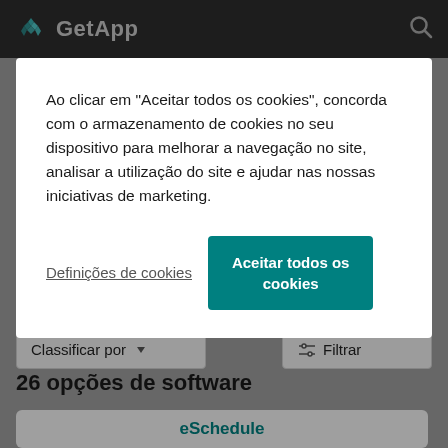GetApp
Ao clicar em "Aceitar todos os cookies", concorda com o armazenamento de cookies no seu dispositivo para melhorar a navegação no site, analisar a utilização do site e ajudar nas nossas iniciativas de marketing.
Definições de cookies
Aceitar todos os cookies
está procurando.
Classificar por
Filtrar
26 opções de software
eSchedule